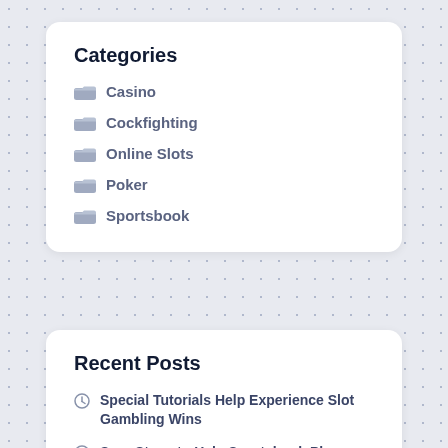Categories
Casino
Cockfighting
Online Slots
Poker
Sportsbook
Recent Posts
Special Tutorials Help Experience Slot Gambling Wins
Sure Steps to Help Sportsbook Players Avoid